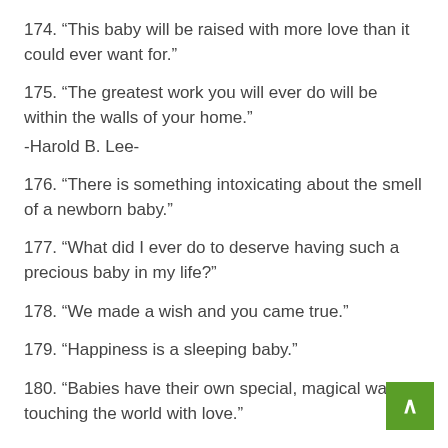174. “This baby will be raised with more love than it could ever want for.”
175. “The greatest work you will ever do will be within the walls of your home.”
-Harold B. Lee-
176. “There is something intoxicating about the smell of a newborn baby.”
177. “What did I ever do to deserve having such a precious baby in my life?”
178. “We made a wish and you came true.”
179. “Happiness is a sleeping baby.”
180. “Babies have their own special, magical wa touching the world with love.”